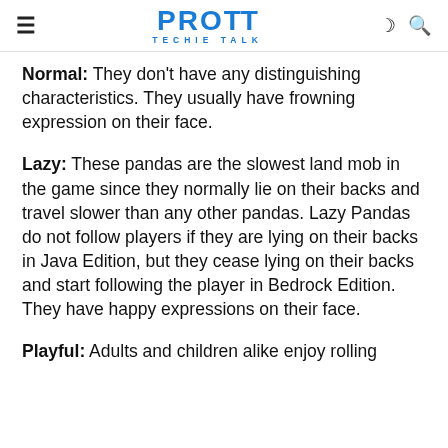PROTT TECHIE TALK
Normal: They don't have any distinguishing characteristics. They usually have frowning expression on their face.
Lazy: These pandas are the slowest land mob in the game since they normally lie on their backs and travel slower than any other pandas. Lazy Pandas do not follow players if they are lying on their backs in Java Edition, but they cease lying on their backs and start following the player in Bedrock Edition. They have happy expressions on their face.
Playful: Adults and children alike enjoy rolling